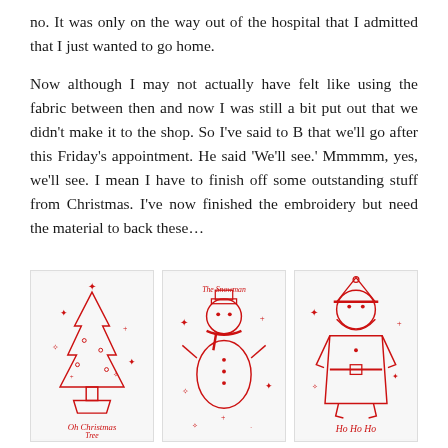no. It was only on the way out of the hospital that I admitted that I just wanted to go home.
Now although I may not actually have felt like using the fabric between then and now I was still a bit put out that we didn't make it to the shop. So I've said to B that we'll go after this Friday's appointment. He said 'We'll see.' Mmmmm, yes, we'll see. I mean I have to finish off some outstanding stuff from Christmas. I've now finished the embroidery but need the material to back these…
[Figure (photo): Three embroidery pieces on white fabric with red thread: left shows a Christmas tree with 'Oh Christmas Tree' text, center shows a snowman with 'The Snowman' text, right shows Santa Claus with 'Ho Ho Ho' text. All designs feature decorative star/sparkle motifs.]